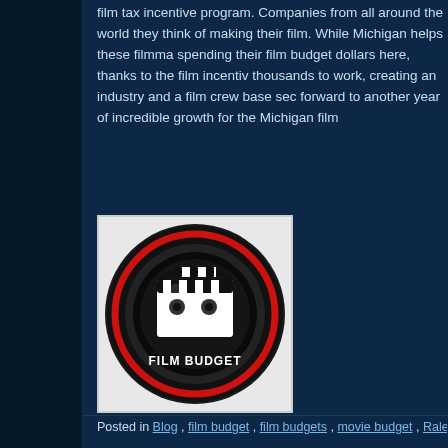film tax incentive program. Companies from all around the world they think of making their film. While Michigan helps these filmma spending their film budget dollars here, thanks to the film incentiv thousands to work, creating an industry and a film crew base sec forward to another year of incredible growth for the Michigan film
[Figure (logo): A circular camera lens logo with film reel clapperboard icon in white on black background, with red ring accent and text 'FILM BUDGET' at the bottom]
Posted in Blog , film budget , film budgets , movie budget , Raleigh Mich
Happy New Year from Michigan F
Dec-31-2010